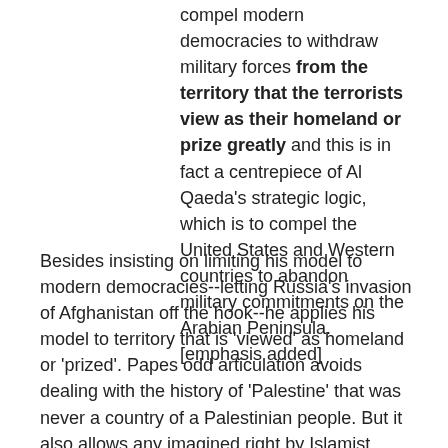compel modern democracies to withdraw military forces from the territory that the terrorists view as their homeland or prize greatly and this is in fact a centrepiece of Al Qaeda's strategic logic, which is to compel the United States and Western countries to abandon military commitments on the Arabian Peninsula. [emphasis added]
Besides insisting on limiting his model to modern democracies--letting Russia's invasion of Afghanistan off the hook--he applies his model to territory that is 'viewed' as homeland or 'prized'. Papes odd articulation avoids dealing with the history of 'Palestine' that was never a country of a Palestinian people. But it also allows any imagined right by Islamist terrorists as justification for murder. For example, the model would give legitimacy to the Moslem claim to the Taj Mahal. Another example: Dhimmi Watch quotes an article in the LA Times, commenting:
At least the article is honest enough to acknowledge the traditionalist basis of the jihadist claims to Spain: